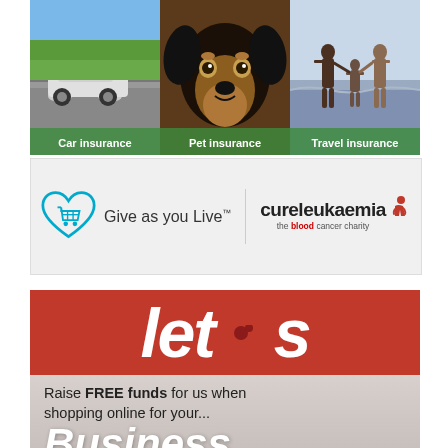[Figure (infographic): Three insurance product panels side by side: Car insurance (car on road), Pet insurance (Rottweiler dog), Travel insurance (family on beach)]
[Figure (logo): Give as you Live logo with shopping cart heart icon, alongside Cure Leukaemia charity logo with red figure]
[Figure (infographic): Red banner with large white italic text reading let's with dark red apostrophe decoration]
Raise FREE funds for us when shopping online for your...
Business